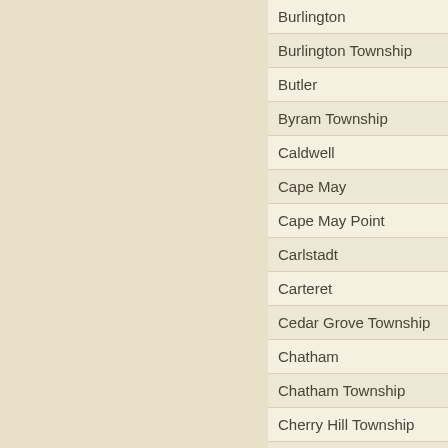Burlington
Burlington Township
Butler
Byram Township
Caldwell
Cape May
Cape May Point
Carlstadt
Carteret
Cedar Grove Township
Chatham
Chatham Township
Cherry Hill Township
Chesilhurst
Chester
Chesterfield Township